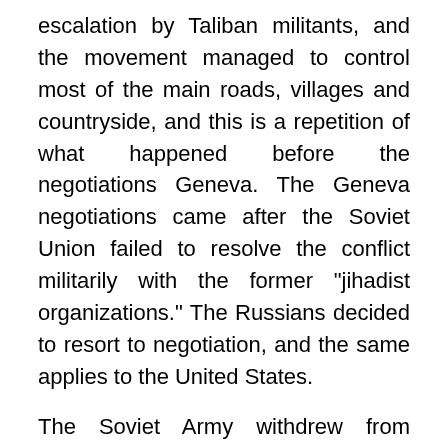escalation by Taliban militants, and the movement managed to control most of the main roads, villages and countryside, and this is a repetition of what happened before the negotiations Geneva. The Geneva negotiations came after the Soviet Union failed to resolve the conflict militarily with the former "jihadist organizations." The Russians decided to resort to negotiation, and the same applies to the United States.
The Soviet Army withdrew from Afghanistan 34 years ago, according to the Geneva Convention (websites) [Close X]
On the other hand, while the "jihadist